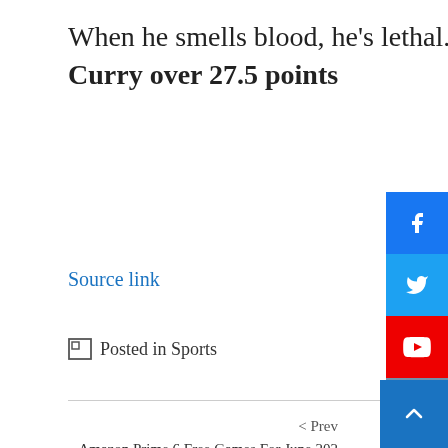When he smells blood, he's lethal. The pick: Curry over 27.5 points
Source link
Posted in Sports
< Prev
Amazon Prime 6 Free Games For June 202… Revealed